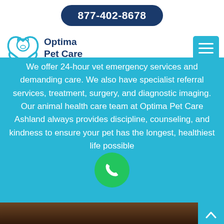877-402-8678
[Figure (logo): Optima Pet Care logo with a blue paw/heart icon and dog/cat silhouette]
Optima Pet Care
We offer 24-hour vet emergency services and demanding care. We also have specialist referral services, treatment, surgery, and diagnostic imaging. Our animal health care team at Optima Pet Care Ashland always provides discipline, counseling, and kindness to ensure your pet has the longest, healthiest life possible
[Figure (other): Green circular phone call button overlay]
[Figure (photo): Bottom strip showing a dark animal/pet photo]